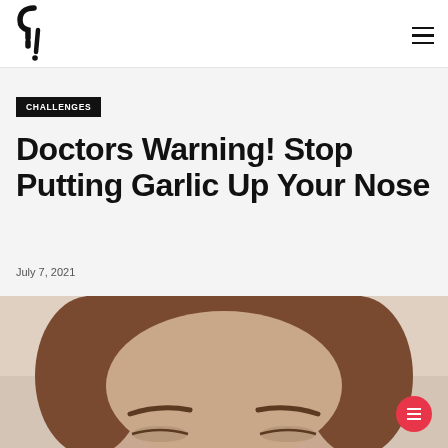Logo and navigation header
CHALLENGES
Doctors Warning! Stop Putting Garlic Up Your Nose
July 7, 2021
[Figure (photo): Close-up photo of a woman's face from the forehead to just below the nose, with brown hair and groomed eyebrows, appearing as a video still.]